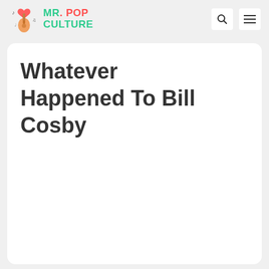MR. POP CULTURE
Whatever Happened To Bill Cosby